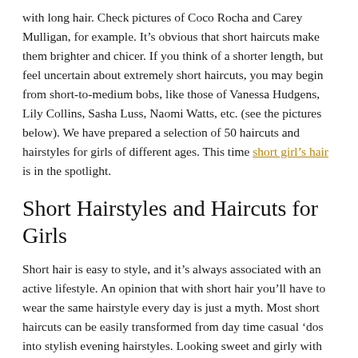with long hair. Check pictures of Coco Rocha and Carey Mulligan, for example. It's obvious that short haircuts make them brighter and chicer. If you think of a shorter length, but feel uncertain about extremely short haircuts, you may begin from short-to-medium bobs, like those of Vanessa Hudgens, Lily Collins, Sasha Luss, Naomi Watts, etc. (see the pictures below). We have prepared a selection of 50 haircuts and hairstyles for girls of different ages. This time short girl's hair is in the spotlight.
Short Hairstyles and Haircuts for Girls
Short hair is easy to style, and it's always associated with an active lifestyle. An opinion that with short hair you'll have to wear the same hairstyle every day is just a myth. Most short haircuts can be easily transformed from day time casual 'dos into stylish evening hairstyles. Looking sweet and girly with short hair is not only possible, it's easy. Let's see the best ideas for girls of all ages, from teenagers to older women, by...